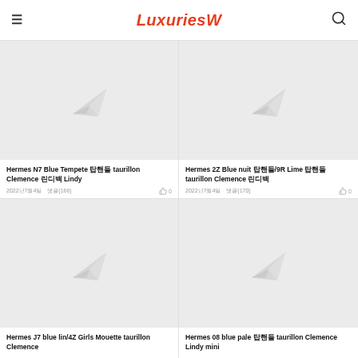LuxuriesW
[Figure (photo): Placeholder image with paper plane icon for Hermes N7 Blue Tempete taurillon Clemence Lindy]
Hermes N7 Blue Tempete 탑핸들 taurillon Clemence 린디백 Lindy
2022년7월4일  댓글(166)  👍 0
[Figure (photo): Placeholder image with paper plane icon for Hermes 2Z Blue nuit 탑핸들/9R Lime 탑핸들 taurillon Clemence 린디백]
Hermes 2Z Blue nuit 탑핸들/9R Lime 탑핸들 taurillon Clemence 린디백
2022년7월4일  댓글(170)  👍 0
[Figure (photo): Placeholder image with paper plane icon for Hermes J7 blue lin/4Z Girls Mouette taurillon Clemence]
Hermes J7 blue lin/4Z Girls Mouette taurillon Clemence
[Figure (photo): Placeholder image with paper plane icon for Hermes 08 blue pale 탑핸들 taurillon Clemence Lindy mini]
Hermes 08 blue pale 탑핸들 taurillon Clemence Lindy mini